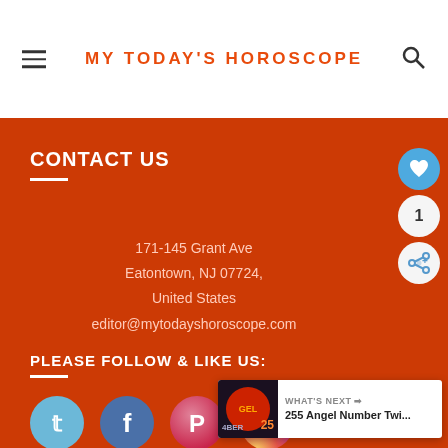MY TODAY'S HOROSCOPE
CONTACT US
171-145 Grant Ave
Eatontown, NJ 07724,
United States
editor@mytodayshoroscope.com
PLEASE FOLLOW & LIKE US:
[Figure (infographic): Social media icons: Twitter, Facebook, Pinterest, Instagram in circular styled buttons]
[Figure (infographic): Floating share widget with heart icon, count 1, and share icon]
[Figure (infographic): What's Next banner showing 255 Angel Number Twi...]